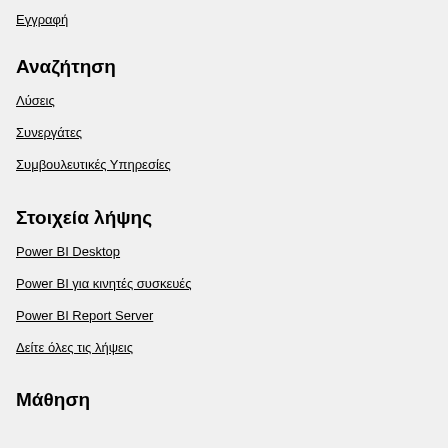Εγγραφή
Αναζήτηση
Λύσεις
Συνεργάτες
Συμβουλευτικές Υπηρεσίες
Στοιχεία λήψης
Power BI Desktop
Power BI για κινητές συσκευές
Power BI Report Server
Δείτε όλες τις λήψεις
Μάθηση